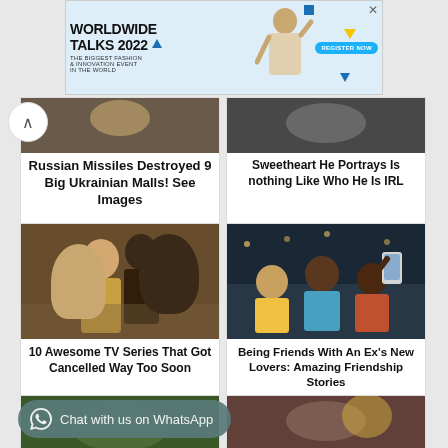[Figure (photo): Advertisement banner for Worldwide Talks 2022 - The Biggest Fashion & Innovation Event in the World, with Register Now button and a fashion model figure]
Sweetheart He Portrays Is nothing Like Who He Is IRL
Russian Missiles Destroyed 9 Big Ukrainian Malls! See Images
[Figure (photo): Couple in period costume, romantic scene - article about 10 Awesome TV Series That Got Cancelled Way Too Soon]
10 Awesome TV Series That Got Cancelled Way Too Soon
[Figure (photo): Group of friends taking a selfie - article about Being Friends With An Ex's New Lovers]
Being Friends With An Ex's New Lovers: Amazing Friendship Stories
Chat with us on WhatsApp